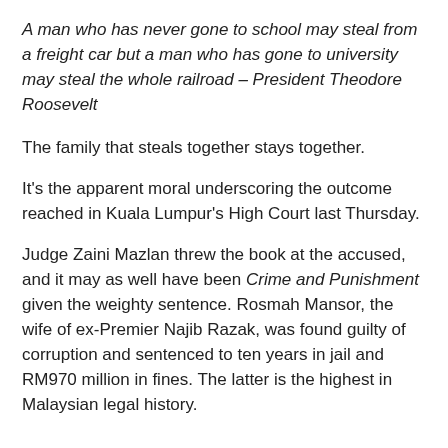A man who has never gone to school may steal from a freight car but a man who has gone to university may steal the whole railroad – President Theodore Roosevelt
The family that steals together stays together.
It's the apparent moral underscoring the outcome reached in Kuala Lumpur's High Court last Thursday.
Judge Zaini Mazlan threw the book at the accused, and it may as well have been Crime and Punishment given the weighty sentence. Rosmah Mansor, the wife of ex-Premier Najib Razak, was found guilty of corruption and sentenced to ten years in jail and RM970 million in fines. The latter is the highest in Malaysian legal history.